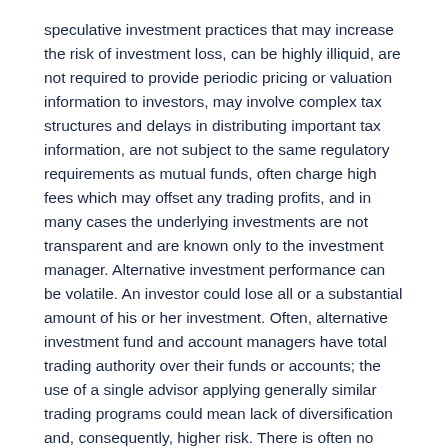speculative investment practices that may increase the risk of investment loss, can be highly illiquid, are not required to provide periodic pricing or valuation information to investors, may involve complex tax structures and delays in distributing important tax information, are not subject to the same regulatory requirements as mutual funds, often charge high fees which may offset any trading profits, and in many cases the underlying investments are not transparent and are known only to the investment manager. Alternative investment performance can be volatile. An investor could lose all or a substantial amount of his or her investment. Often, alternative investment fund and account managers have total trading authority over their funds or accounts; the use of a single advisor applying generally similar trading programs could mean lack of diversification and, consequently, higher risk. There is often no secondary market for an investor's interest in alternative investments, and none is expected to develop. There may be restrictions on transferring interests in any alternative investment. Alternative investment products often execute a substantial portion of their trades on non-U.S. exchanges. Investing in foreign markets may entail risks that differ from those associated with